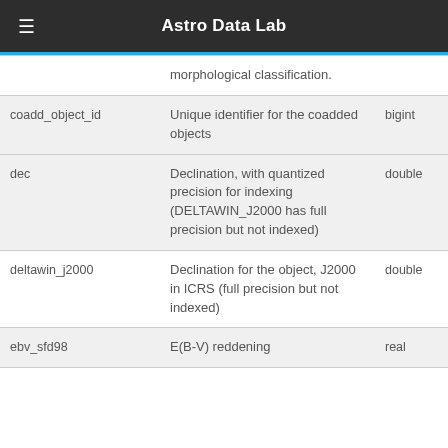Astro Data Lab
| Column | Description | Type |
| --- | --- | --- |
|  | morphological classification. |  |
| coadd_object_id | Unique identifier for the coadded objects | bigint |
| dec | Declination, with quantized precision for indexing (DELTAWIN_J2000 has full precision but not indexed) | double |
| deltawin_j2000 | Declination for the object, J2000 in ICRS (full precision but not indexed) | double |
| ebv_sfd98 | E(B-V) reddening | real |